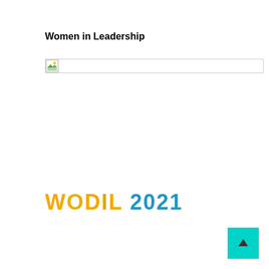Women in Leadership
[Figure (other): Broken image placeholder with small icon and horizontal line, representing a missing/unloaded image]
WODIL 2021
[Figure (other): Teal/cyan colored button with upward arrow (back to top button)]